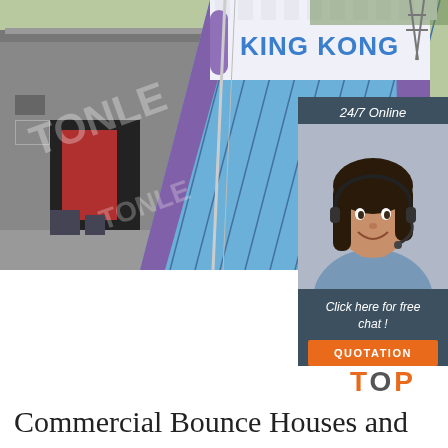[Figure (photo): Large inflatable King Kong bounce house/slide with white and blue colors, purple sides, shown outside a warehouse building. Watermark text 'TONLE' visible on image.]
[Figure (infographic): Chat widget panel with dark blue-grey background. Shows '24/7 Online' header, photo of smiling woman with headset (customer service agent), text 'Click here for free chat!', and an orange 'QUOTATION' button.]
[Figure (logo): TOP logo with orange dots arranged in a triangle above the word TOP in orange with O in darker color.]
Commercial Bounce Houses and